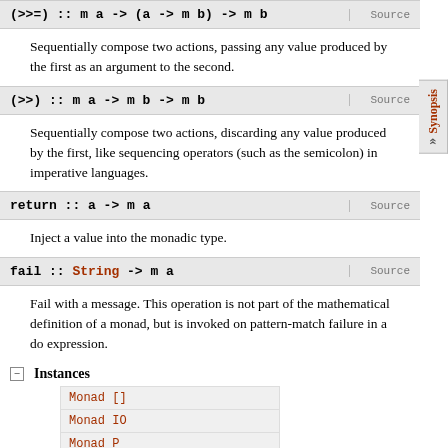(>>= ) :: m a -> (a -> m b) -> m b
Sequentially compose two actions, passing any value produced by the first as an argument to the second.
(>>) :: m a -> m b -> m b
Sequentially compose two actions, discarding any value produced by the first, like sequencing operators (such as the semicolon) in imperative languages.
return :: a -> m a
Inject a value into the monadic type.
fail :: String -> m a
Fail with a message. This operation is not part of the mathematical definition of a monad, but is invoked on pattern-match failure in a do expression.
Instances
| Monad [] |
| Monad IO |
| Monad P |
| Monad ReadP |